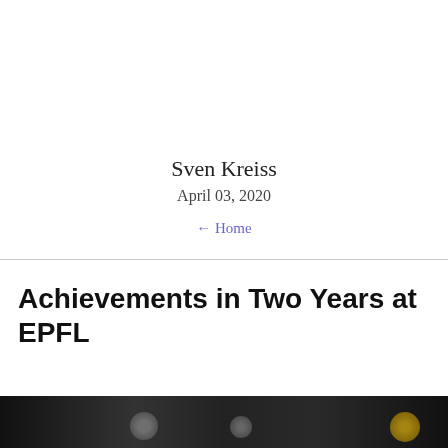Sven Kreiss
April 03, 2020
← Home
Achievements in Two Years at EPFL
[Figure (photo): Bottom strip of a photograph showing people at an event, dark background with partial figures visible]